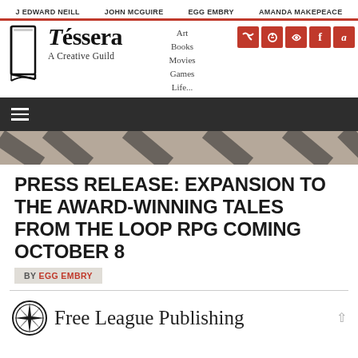J EDWARD NEILL   JOHN MCGUIRE   EGG EMBRY   AMANDA MAKEPEACE
[Figure (logo): Tessera A Creative Guild logo with book icon and navigation links (Art, Books, Movies, Games, Life...) and social media icons (Twitter, Pinterest, RSS, Facebook, Amazon)]
[Figure (other): Dark navigation bar with hamburger menu icon]
[Figure (other): Diagonal striped hero image strip in brown and dark tones]
PRESS RELEASE: EXPANSION TO THE AWARD-WINNING TALES FROM THE LOOP RPG COMING OCTOBER 8
BY EGG EMBRY
[Figure (logo): Free League Publishing logo — circular emblem with star/compass design — and partial text 'Free League Publishing']